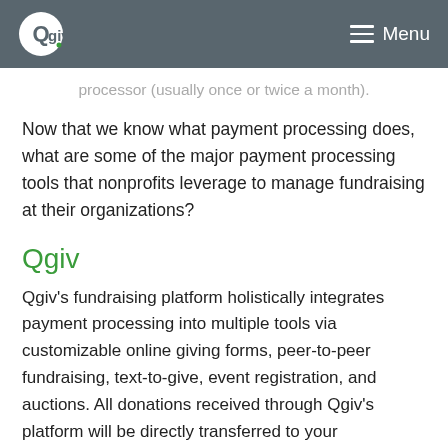Qgiv. Menu
processor (usually once or twice a month).
Now that we know what payment processing does, what are some of the major payment processing tools that nonprofits leverage to manage fundraising at their organizations?
Qgiv
Qgiv's fundraising platform holistically integrates payment processing into multiple tools via customizable online giving forms, peer-to-peer fundraising, text-to-give, event registration, and auctions. All donations received through Qgiv's platform will be directly transferred to your